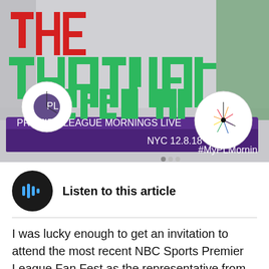[Figure (photo): Photo of a large 3D letter display reading 'THE CITY THAT NEVER SLEEPS IN' in red and green letters on a purple base. The display features Premier League Mornings Live and NBC logos with clocks, and text reading 'NYC 12.8.18 #MyPLMorning'.]
Listen to this article
I was lucky enough to get an invitation to attend the most recent NBC Sports Premier League Fan Fest as the representative from Bitter & Blue, though I will admit that was simply because I happen to live closest